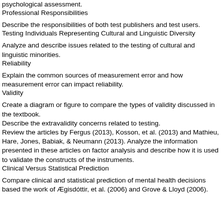psychological assessment.
Professional Responsibilities
Describe the responsibilities of both test publishers and test users.
Testing Individuals Representing Cultural and Linguistic Diversity
Analyze and describe issues related to the testing of cultural and linguistic minorities.
Reliability
Explain the common sources of measurement error and how measurement error can impact reliability.
Validity
Create a diagram or figure to compare the types of validity discussed in the textbook.
Describe the extravalidity concerns related to testing.
Review the articles by Fergus (2013), Kosson, et al. (2013) and Mathieu, Hare, Jones, Babiak, & Neumann (2013). Analyze the information presented in these articles on factor analysis and describe how it is used to validate the constructs of the instruments.
Clinical Versus Statistical Prediction
Compare clinical and statistical prediction of mental health decisions based the work of Ægisdóttir, et al. (2006) and Grove & Lloyd (2006).